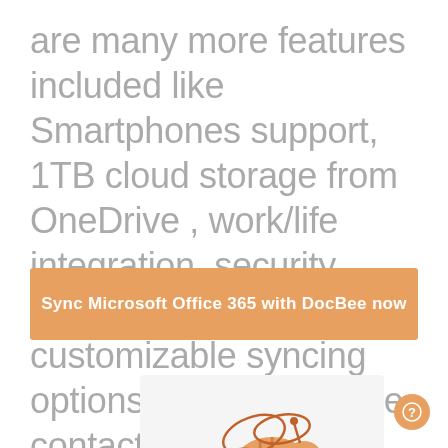are many more features included like Smartphones support, 1TB cloud storage from OneDrive , work/life integration, security features and customizable syncing options between private contacts public folders..
Sync Microsoft Office 365 with DocBee now
[Figure (illustration): DocBee bee logo illustration in orange color, showing a stylized bee with wings]